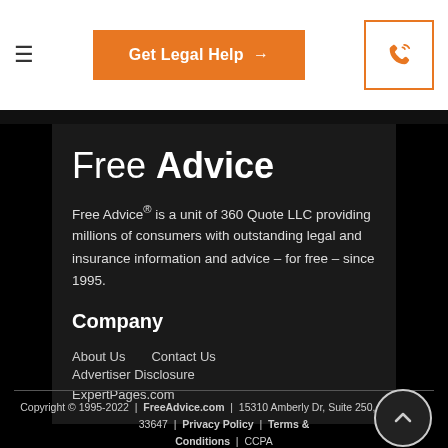Get Legal Help →
Free Advice
Free Advice® is a unit of 360 Quote LLC providing millions of consumers with outstanding legal and insurance information and advice – for free – since 1995.
Company
About Us
Contact Us
Advertiser Disclosure
ExpertPages.com
Copyright © 1995-2022 | FreeAdvice.com | 15310 Amberly Dr, Suite 250, Tampa, FL 33647 | Privacy Policy | Terms & Conditions | CCPA